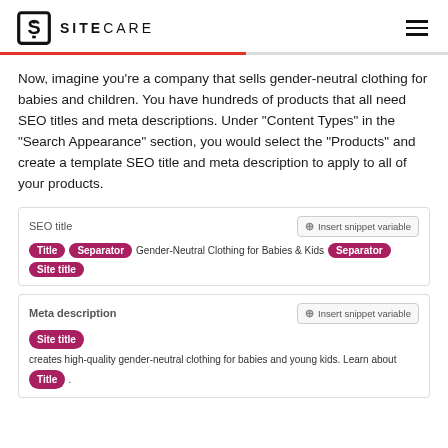SITECARE
Now, imagine you're a company that sells gender-neutral clothing for babies and children. You have hundreds of products that all need SEO titles and meta descriptions. Under "Content Types" in the "Search Appearance" section, you would select the "Products" and create a template SEO title and meta description to apply to all of your products.
[Figure (screenshot): SEO title field showing tags: Title, Separator, 'Gender-Neutral Clothing for Babies & Kids', Separator, Site title. Meta description field showing: Site title tag, 'creates high-quality gender-neutral clothing for babies and young kids. Learn about', Title tag, period.]